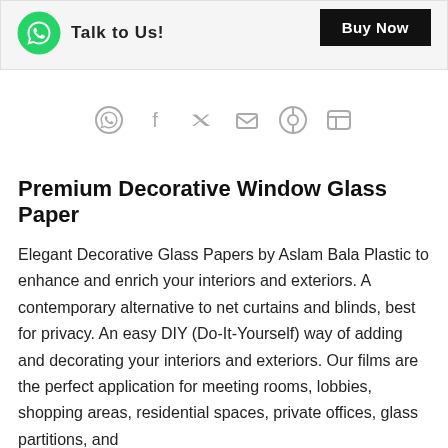[Figure (screenshot): Top bar with WhatsApp icon, 'Talk to Us!' text, and a black 'Buy Now' button on the right side, on a light grey background]
[Figure (infographic): Row of social media icons: WhatsApp, Facebook, Twitter, Email, Pinterest, LinkedIn — all in grey]
Premium Decorative Window Glass Paper
Elegant Decorative Glass Papers by Aslam Bala Plastic to enhance and enrich your interiors and exteriors. A contemporary alternative to net curtains and blinds, best for privacy. An easy DIY (Do-It-Yourself) way of adding and decorating your interiors and exteriors. Our films are the perfect application for meeting rooms, lobbies, shopping areas, residential spaces, private offices, glass partitions, and